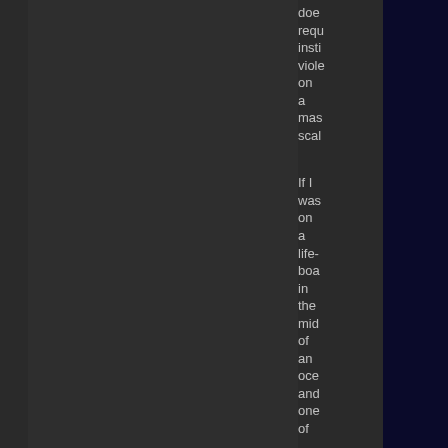does require insti- viol- on a mas- scale  If I was on a life- boa- in the mid- of an oce- and one of